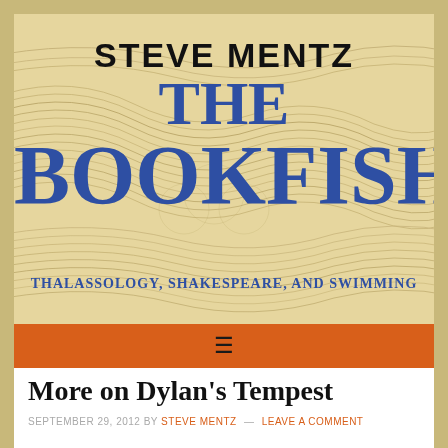[Figure (illustration): Website header banner with an antique map/etching of fish as background, showing wavy line patterns in beige/tan tones]
STEVE MENTZ
THE BOOKFISH
THALASSOLOGY, SHAKESPEARE, AND SWIMMING
[Figure (other): Orange navigation bar with hamburger menu icon (three horizontal lines)]
More on Dylan's Tempest
SEPTEMBER 29, 2012 BY STEVE MENTZ — LEAVE A COMMENT